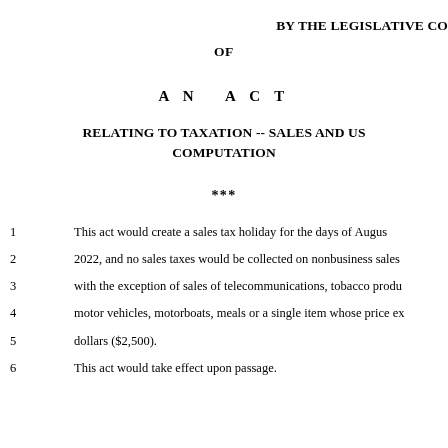BY THE LEGISLATIVE CO
OF
AN ACT
RELATING TO TAXATION -- SALES AND US COMPUTATION
***
1    This act would create a sales tax holiday for the days of Augus
2    2022, and no sales taxes would be collected on nonbusiness sales
3    with the exception of sales of telecommunications, tobacco produ
4    motor vehicles, motorboats, meals or a single item whose price ex
5    dollars ($2,500).
6    This act would take effect upon passage.